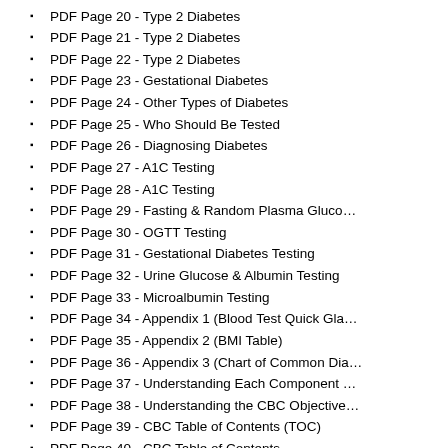PDF Page 20 - Type 2 Diabetes
PDF Page 21 - Type 2 Diabetes
PDF Page 22 - Type 2 Diabetes
PDF Page 23 - Gestational Diabetes
PDF Page 24 - Other Types of Diabetes
PDF Page 25 - Who Should Be Tested
PDF Page 26 - Diagnosing Diabetes
PDF Page 27 - A1C Testing
PDF Page 28 - A1C Testing
PDF Page 29 - Fasting & Random Plasma Gluco…
PDF Page 30 - OGTT Testing
PDF Page 31 - Gestational Diabetes Testing
PDF Page 32 - Urine Glucose & Albumin Testing
PDF Page 33 - Microalbumin Testing
PDF Page 34 - Appendix 1 (Blood Test Quick Gla…
PDF Page 35 - Appendix 2 (BMI Table)
PDF Page 36 - Appendix 3 (Chart of Common Dia…
PDF Page 37 - Understanding Each Component …
PDF Page 38 - Understanding the CBC Objective…
PDF Page 39 - CBC Table of Contents (TOC)
PDF Page 40 - CBC Table of Contents
PDF Page 41 - White Blood Cells (WBCs)
PDF Page 42 - Total WBCs
PDF Page 43 - Low WBC Count
PDF Page 44 - Elevated WBC
PDF Page 45 - Benign Syndromes Causing Leuk…
PDF Page 46 - Malignancy As A Cause of Leukoc…
PDF Page 47 - Malignancy As A Cause of Leukoc…
PDF Page 48 - Neutrophils
PDF Page 49 - Neutrophils